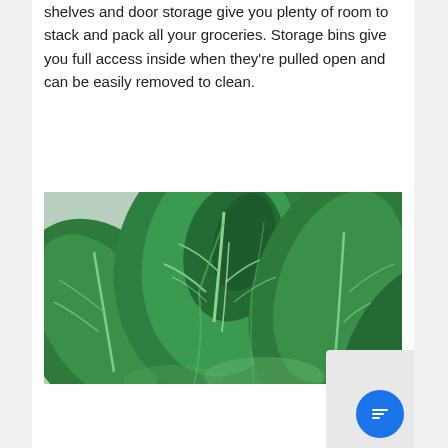shelves and door storage give you plenty of room to stack and pack all your groceries. Storage bins give you full access inside when they're pulled open and can be easily removed to clean.
[Figure (photo): Close-up photograph of fresh green lettuce leaves against a light blue background, showing detailed leaf texture and veining.]